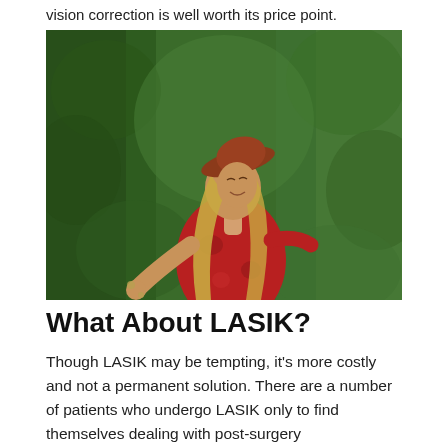vision correction is well worth its price point.
[Figure (photo): Woman in a red hat and red floral outfit, arms outstretched, looking upward joyfully amid tall green hedges or shrubs.]
What About LASIK?
Though LASIK may be tempting, it's more costly and not a permanent solution. There are a number of patients who undergo LASIK only to find themselves dealing with post-surgery complications. They may also end up requiring additional forms of vision